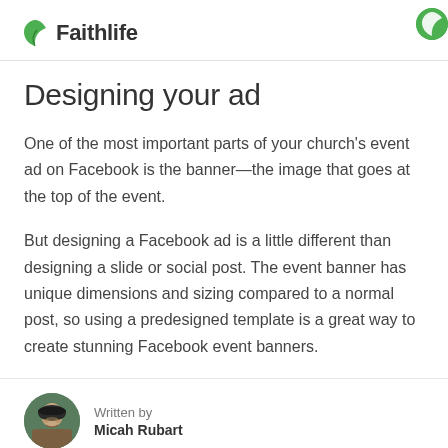Faithlife
Designing your ad
One of the most important parts of your church’s event ad on Facebook is the banner—the image that goes at the top of the event.
But designing a Facebook ad is a little different than designing a slide or social post. The event banner has unique dimensions and sizing compared to a normal post, so using a predesigned template is a great way to create stunning Facebook event banners.
Written by
Micah Rubart